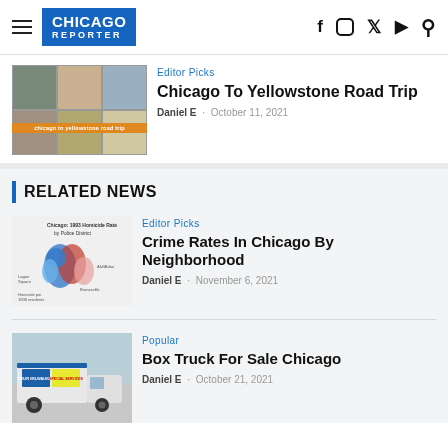Chicago Reporter
[Figure (photo): Collage of travel photos for Chicago to Yellowstone road trip with orange banner overlay]
Editor Picks
Chicago To Yellowstone Road Trip
Daniel E  ·  October 11, 2021
RELATED NEWS
[Figure (map): Chicago 1993 Homicide Rate by Police District map with blue and red shading]
Editor Picks
Crime Rates In Chicago By Neighborhood
Daniel E  ·  November 6, 2021
[Figure (photo): Box truck for sale in Chicago, white truck on street]
Popular
Box Truck For Sale Chicago
Daniel E  ·  October 21, 2021